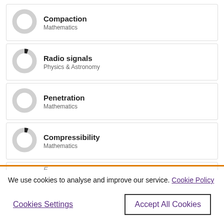[Figure (donut-chart): Donut chart icon for Compaction - Mathematics, approximately 25% filled]
Compaction
Mathematics
[Figure (donut-chart): Donut chart icon for Radio signals - Physics & Astronomy, approximately 30% filled]
Radio signals
Physics & Astronomy
[Figure (donut-chart): Donut chart icon for Penetration - Mathematics, approximately 25% filled]
Penetration
Mathematics
[Figure (donut-chart): Donut chart icon for Compressibility - Mathematics, approximately 30% filled]
Compressibility
Mathematics
We use cookies to analyse and improve our service. Cookie Policy
Cookies Settings
Accept All Cookies